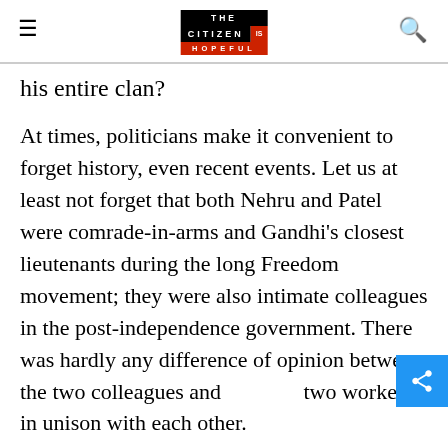THE CITIZEN IS HOPEFUL
his entire clan?
At times, politicians make it convenient to forget history, even recent events. Let us at least not forget that both Nehru and Patel were comrade-in-arms and Gandhi's closest lieutenants during the long Freedom movement; they were also intimate colleagues in the post-independence government. There was hardly any difference of opinion between the two colleagues and two worked in unison with each other.
Even though Nehru was the Prime Minister and Patel the